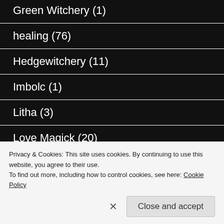Green Witchery (1)
healing (76)
Hedgewitchery (11)
Imbolc (1)
Litha (3)
Love Magick (20)
Lughnasadh /Lammas (1)
Privacy & Cookies: This site uses cookies. By continuing to use this website, you agree to their use.
To find out more, including how to control cookies, see here: Cookie Policy
Close and accept